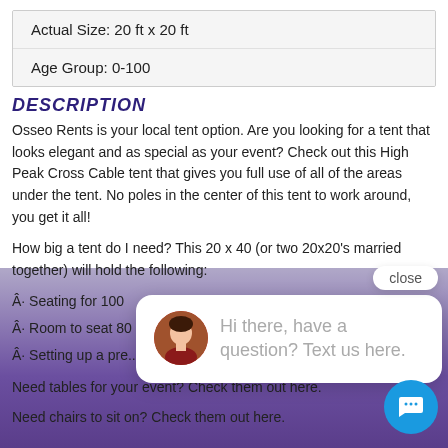| Actual Size: 20 ft x 20 ft |
| Age Group: 0-100 |
Description
Osseo Rents is your local tent option. Are you looking for a tent that looks elegant and as special as your event? Check out this High Peak Cross Cable tent that gives you full use of all of the areas under the tent. No poles in the center of this tent to work around, you get it all!
How big a tent do I need? This 20 x 40 (or two 20x20's married together) will hold the following:
Â· Seating for 100
Â· Room to seat 80
Â· Setting up a pre... guests in this tent and still have room for you.
Need tables for your event? Check them out here.
Need chairs to sit on? Check them out here.